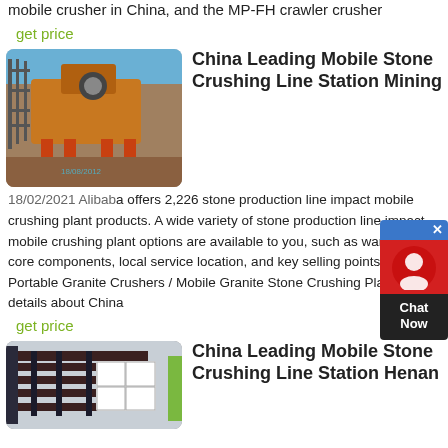mobile crusher in China, and the MP-FH crawler crusher
get price
[Figure (photo): Photo of a large orange mobile stone crushing machine at a construction site with scaffolding in background and dirt/rubble on the ground. Timestamp 18/08/2012 visible.]
China Leading Mobile Stone Crushing Line Station Mining
18/02/2021 Alibaba offers 2,226 stone production line impact mobile crushing plant products. A wide variety of stone production line impact mobile crushing plant options are available to you, such as warranty of core components, local service location, and key selling points.:::China Portable Granite Crushers / Mobile Granite Stone Crushing Plant, Find details about China
get price
[Figure (photo): Photo of industrial equipment - dark metal frame/rack structure against a light gray wall.]
China Leading Mobile Stone Crushing Line Station Henan